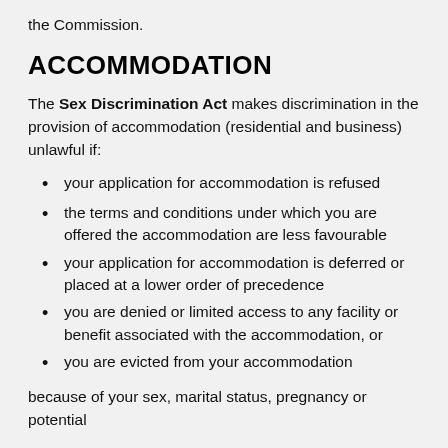the Commission.
ACCOMMODATION
The Sex Discrimination Act makes discrimination in the provision of accommodation (residential and business) unlawful if:
your application for accommodation is refused
the terms and conditions under which you are offered the accommodation are less favourable
your application for accommodation is deferred or placed at a lower order of precedence
you are denied or limited access to any facility or benefit associated with the accommodation, or
you are evicted from your accommodation
because of your sex, marital status, pregnancy or potential